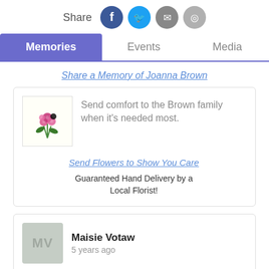[Figure (infographic): Share bar with label 'Share' and four social media icon buttons: Facebook (blue), Twitter (cyan), Email (gray), SMS/other (light gray)]
Memories | Events | Media (tab navigation, Memories active)
Share a Memory of Joanna Brown
[Figure (infographic): Flower bouquet image in a box with text: Send comfort to the Brown family when it's needed most. Link: Send Flowers to Show You Care. Text: Guaranteed Hand Delivery by a Local Florist!]
Maisie Votaw
5 years ago

I was in Joanna's class at Kodai school where 16 of us graduated in 1948. Kodai was a boarding school so we